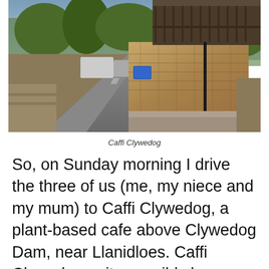[Figure (photo): Photograph of Caffi Clywedog building exterior with stone walls and wooden upper balcony, a road in the foreground, trees in the background, and other structures visible to the left.]
Caffi Clywedog
So, on Sunday morning I drive the three of us (me, my niece and my mum) to Caffi Clywedog, a plant-based cafe above Clywedog Dam, near Llanidloes. Caffi Clywedog quite possibly has some of the best views you'll ever see from a cafe. You can see for miles across Mid Wales, and looking down you'll see Llyn